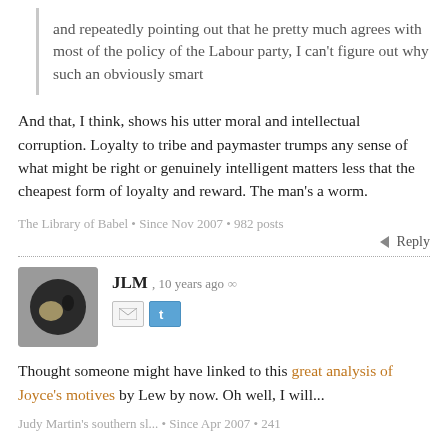and repeatedly pointing out that he pretty much agrees with most of the policy of the Labour party, I can't figure out why such an obviously smart
And that, I think, shows his utter moral and intellectual corruption. Loyalty to tribe and paymaster trumps any sense of what might be right or genuinely intelligent matters less that the cheapest form of loyalty and reward. The man's a worm.
The Library of Babel • Since Nov 2007 • 982 posts
Reply
JLM, 10 years ago ∞
Thought someone might have linked to this great analysis of Joyce's motives by Lew by now. Oh well, I will...
Judy Martin's southern sl... • Since Apr 2007 • 241